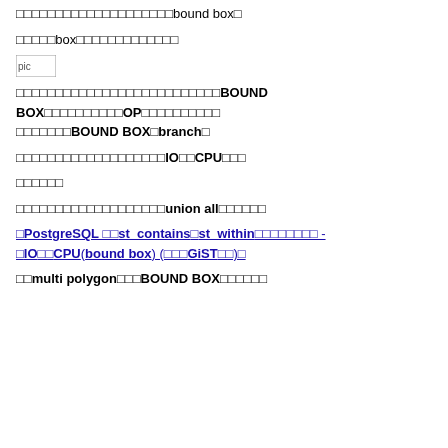□□□□□□□□□□□□□□□□□□□□bound box□
□□□□□box□□□□□□□□□□□□□
[Figure (other): pic placeholder image]
□□□□□□□□□□□□□□□□□□□□□□□□□□BOUND BOX□□□□□□□□□□□OP□□□□□□□□□□□□□□□□□BOUND BOX□branch□
□□□□□□□□□□□□□□□□□□□IO□□CPU□□□
□□□□□□
□□□□□□□□□□□□□□□□□□□union all□□□□□□
□PostgreSQL □□st_contains□st_within□□□□□□□□ - □IO□□CPU(bound box) (□□□GiST□□)□
□□multi polygon□□□BOUND BOX□□□□□□